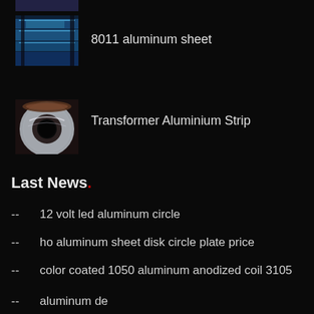[Figure (photo): Partially visible product image at top (cropped), appears to show aluminum sheet or similar metal product]
[Figure (photo): 8011 aluminum sheet product image showing blue/silver metallic sheets stacked]
8011 aluminum sheet
[Figure (photo): Transformer Aluminium Strip product image showing coiled silver strip]
Transformer Aluminium Strip
Last News.
-- 12 volt led aluminum circle
-- ho aluminum sheet disk circle plate price
-- color coated 1050 aluminum anodized coil 3105
-- [partially visible item]